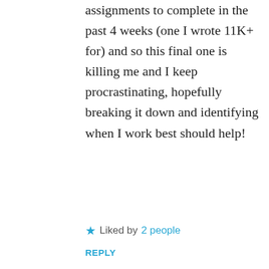assignments to complete in the past 4 weeks (one I wrote 11K+ for) and so this final one is killing me and I keep procrastinating, hopefully breaking it down and identifying when I work best should help!
★ Liked by 2 people
REPLY
Advertisements
[Figure (other): WordPress.com advertisement banner with Build Your Website button]
REPORT THIS AD
[Figure (photo): User avatar photo of soltreusolpar9501]
soltreusolpar9501
JANUARY 12, 2019 AT 6:45 AM